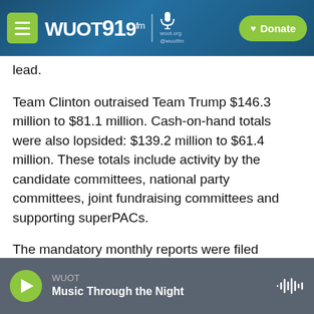[Figure (screenshot): WUOT 91.9 FM radio station navigation bar with hamburger menu, logo, microphone icon, and green Donate button]
lead.
Team Clinton outraised Team Trump $146.3 million to $81.1 million. Cash-on-hand totals were also lopsided: $139.2 million to $61.4 million. These totals include activity by the candidate committees, national party committees, joint fundraising committees and supporting superPACs.
The mandatory monthly reports were filed Wednesday night at the Federal Election Commission.
[Figure (screenshot): WUOT audio player bar at bottom showing play button, station name WUOT, and show name Music Through the Night with waveform icon]